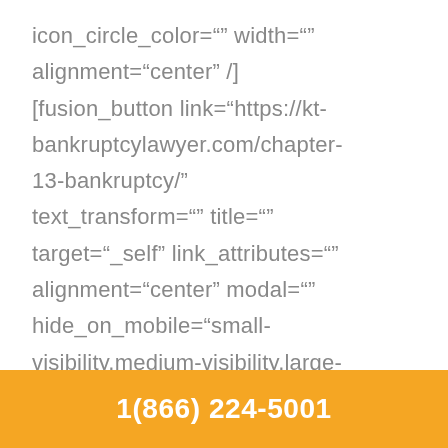icon_circle_color="" width="" alignment="center" /] [fusion_button link="https://kt-bankruptcylawyer.com/chapter-13-bankruptcy/" text_transform="" title="" target="_self" link_attributes="" alignment="center" modal="" hide_on_mobile="small-visibility,medium-visibility,large-
1(866) 224-5001